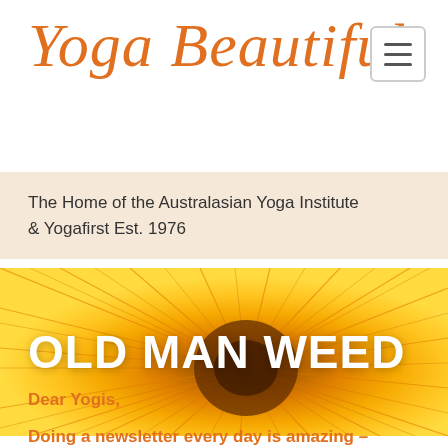Yoga Beautiful
The Home of the Australasian Yoga Institute & Yogafirst Est. 1976
[Figure (photo): Close-up macro photo of a bright orange/yellow flower (daisy or sunflower), filling the entire banner area with radiating petals]
OLD MAN WEED
Dear Yogis,
Doing a newsletter every day is amazing –